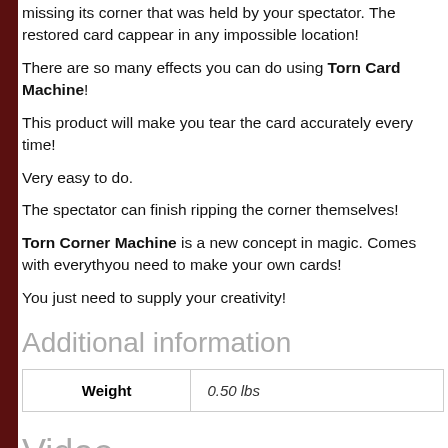missing its corner that was held by your spectator. The restored card can appear in any impossible location!
There are so many effects you can do using Torn Card Machine!
This product will make you tear the card accurately every time!
Very easy to do.
The spectator can finish ripping the corner themselves!
Torn Corner Machine is a new concept in magic. Comes with everything you need to make your own cards!
You just need to supply your creativity!
Additional information
| Weight |  |
| --- | --- |
| Weight | 0.50 lbs |
Video